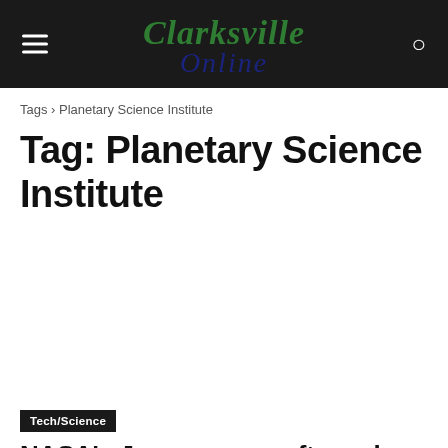Clarksville Online
Tags › Planetary Science Institute
Tag: Planetary Science Institute
Tech/Science
NASA's Juno spacecraft reaches halfway point in Jupiter mission